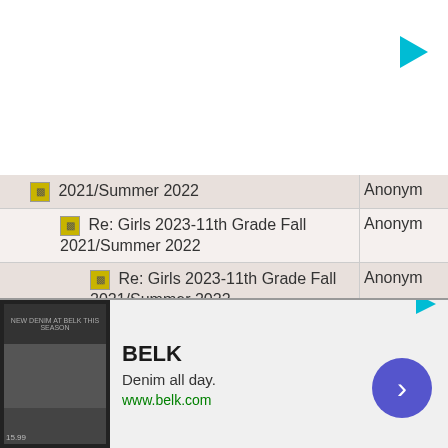[Figure (other): Top advertisement banner area, white background with teal play icon top right]
| Thread | Author |
| --- | --- |
| Re: Girls 2023-11th Grade Fall 2021/Summer 2022 | Anonym |
| Re: Girls 2023-11th Grade Fall 2021/Summer 2022 | Anonym |
| Re: Girls 2023-11th Grade Fall 2021/Summer 2022 | Anonym |
| Re: Girls 2023-11th Grade Fall 2021/Summer 2022 | Anonym |
| Re: Girls 2023-11th Grade Fall 2021/Summer 2022 | Anonym |
| Re: Girls 2023-11th Grade Fall 2021/Summer 2022 | Anonym |
[Figure (other): Bottom advertisement for BELK - Denim all day. www.belk.com - with close button and arrow navigation]